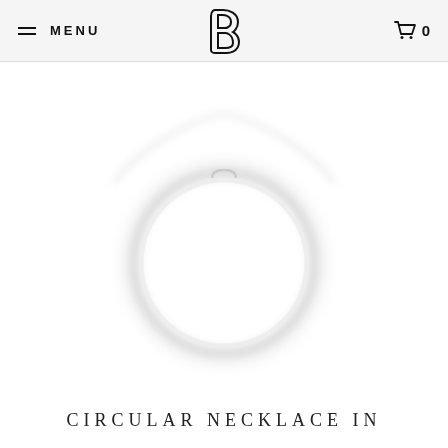≡ MENU   [B logo]   🛒 0
[Figure (photo): A delicate circular/ring necklace pendant with a thin chain on a white background, photographed from above. The pendant is a thin silver open circle, softly lit with slight blur/glow effect.]
CIRCULAR NECKLACE IN